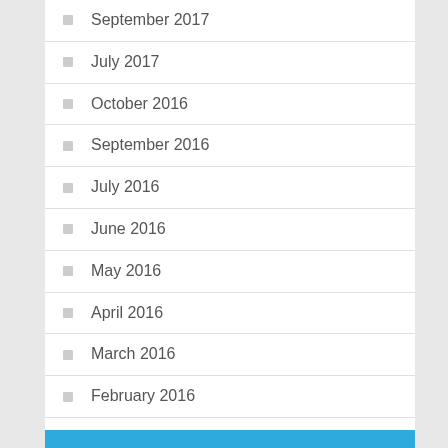September 2017
July 2017
October 2016
September 2016
July 2016
June 2016
May 2016
April 2016
March 2016
February 2016
Categories
Business Service
Computers & Technology
Health and Fitness